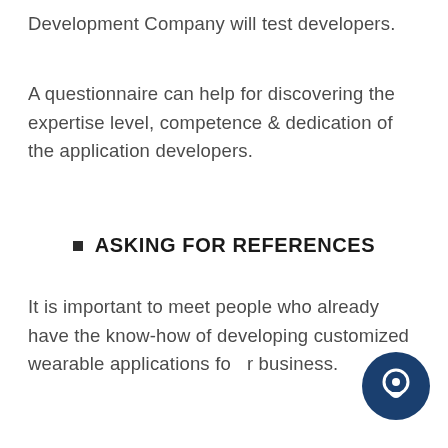Development Company will test developers.
A questionnaire can help for discovering the expertise level, competence & dedication of the application developers.
ASKING FOR REFERENCES
It is important to meet people who already have the know-how of developing customized wearable applications for your business.